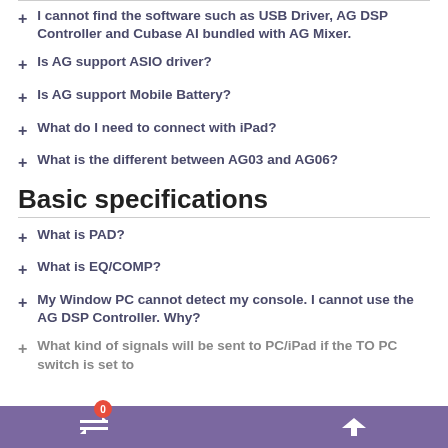I cannot find the software such as USB Driver, AG DSP Controller and Cubase AI bundled with AG Mixer.
Is AG support ASIO driver?
Is AG support Mobile Battery?
What do I need to connect with iPad?
What is the different between AG03 and AG06?
Basic specifications
What is PAD?
What is EQ/COMP?
My Window PC cannot detect my console. I cannot use the AG DSP Controller. Why?
What kind of signals will be sent to PC/iPad if the TO PC switch is set to